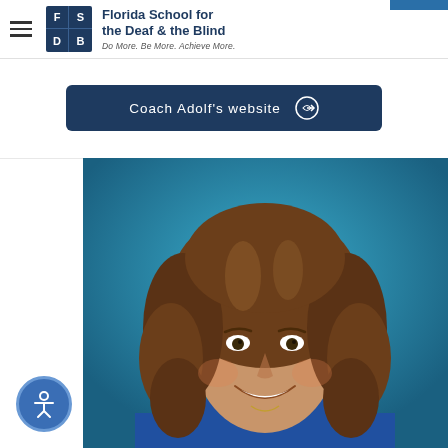Florida School for the Deaf & the Blind — Do More. Be More. Achieve More.
Coach Adolf's website
[Figure (photo): Headshot of a woman with long curly brown hair, smiling, wearing a blue polo shirt, against a teal/blue background — Coach Adolf of Florida School for the Deaf & the Blind]